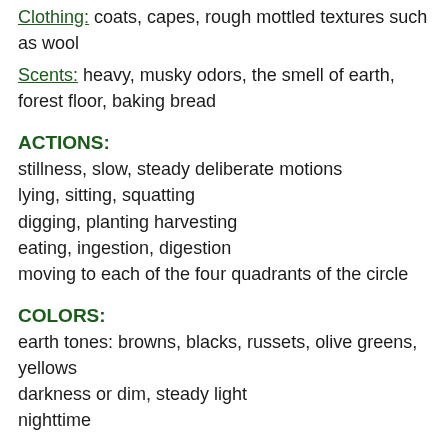Clothing: coats, capes, rough mottled textures such as wool
Scents: heavy, musky odors, the smell of earth, forest floor, baking bread
ACTIONS:
stillness, slow, steady deliberate motions
lying, sitting, squatting
digging, planting harvesting
eating, ingestion, digestion
moving to each of the four quadrants of the circle
COLORS:
earth tones: browns, blacks, russets, olive greens, yellows
darkness or dim, steady light
nighttime
SOUNDS: